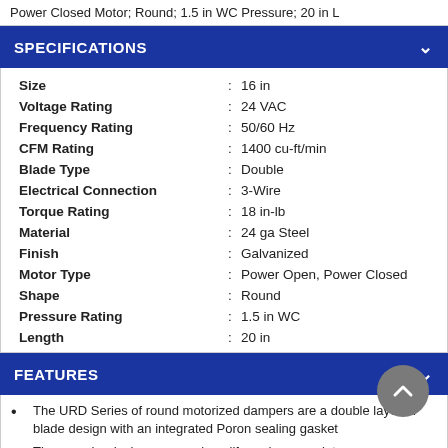Power Closed Motor; Round; 1.5 in WC Pressure; 20 in L
SPECIFICATIONS
| Specification |  | Value |
| --- | --- | --- |
| Size | : | 16 in |
| Voltage Rating | : | 24 VAC |
| Frequency Rating | : | 50/60 Hz |
| CFM Rating | : | 1400 cu-ft/min |
| Blade Type | : | Double |
| Electrical Connection | : | 3-Wire |
| Torque Rating | : | 18 in-lb |
| Material | : | 24 ga Steel |
| Finish | : | Galvanized |
| Motor Type | : | Power Open, Power Closed |
| Shape | : | Round |
| Pressure Rating | : | 1.5 in WC |
| Length | : | 20 in |
FEATURES
The URD Series of round motorized dampers are a double layered blade design with an integrated Poron sealing gasket
The superior design ensures long life and zero maintenance
Easy to install, easy to wire up
Comes with a five-years warranty
The nylon bearings and ThermoTuff drive shafts ensure smooth